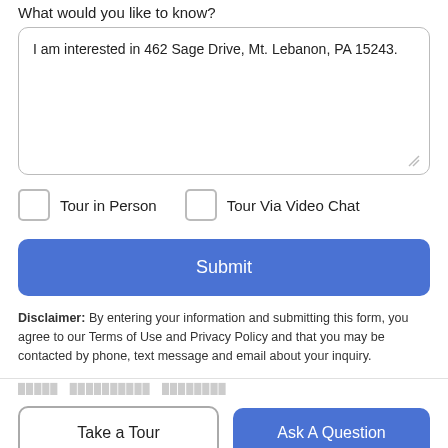What would you like to know?
I am interested in 462 Sage Drive, Mt. Lebanon, PA 15243.
Tour in Person
Tour Via Video Chat
Submit
Disclaimer: By entering your information and submitting this form, you agree to our Terms of Use and Privacy Policy and that you may be contacted by phone, text message and email about your inquiry.
Take a Tour
Ask A Question